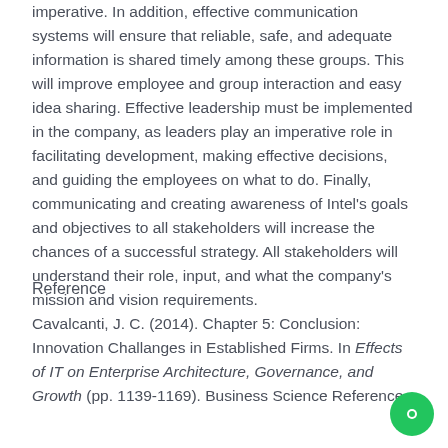imperative. In addition, effective communication systems will ensure that reliable, safe, and adequate information is shared timely among these groups. This will improve employee and group interaction and easy idea sharing. Effective leadership must be implemented in the company, as leaders play an imperative role in facilitating development, making effective decisions, and guiding the employees on what to do. Finally, communicating and creating awareness of Intel's goals and objectives to all stakeholders will increase the chances of a successful strategy. All stakeholders will understand their role, input, and what the company's mission and vision requirements.
Reference
Cavalcanti, J. C. (2014). Chapter 5: Conclusion: Innovation Challanges in Established Firms. In Effects of IT on Enterprise Architecture, Governance, and Growth (pp. 1139-1169). Business Science Reference.